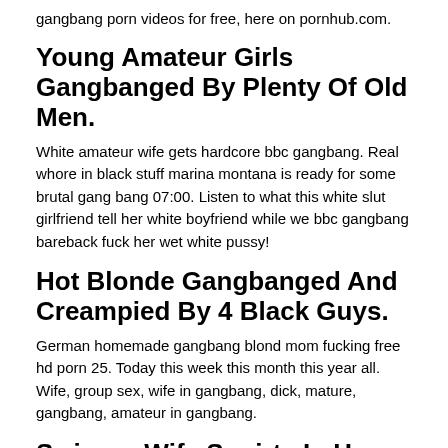gangbang porn videos for free, here on pornhub.com.
Young Amateur Girls Gangbanged By Plenty Of Old Men.
White amateur wife gets hardcore bbc gangbang. Real whore in black stuff marina montana is ready for some brutal gang bang 07:00. Listen to what this white slut girlfriend tell her white boyfriend while we bbc gangbang bareback fuck her wet white pussy!
Hot Blonde Gangbanged And Creampied By 4 Black Guys.
German homemade gangbang blond mom fucking free hd porn 25. Today this week this month this year all. Wife, group sex, wife in gangbang, dick, mature, gangbang, amateur in gangbang.
Swinger Wife Squirts In Her First Gang Bang Like Dislike Close.